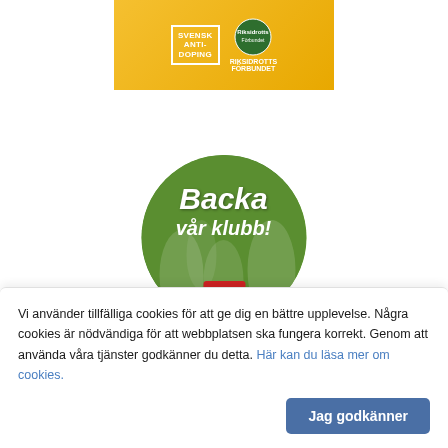[Figure (photo): Yellow banner with 'Svensk Anti-Doping' logo and 'Riksidrotts Förbundet' logo on golden/orange background]
[Figure (illustration): Circular badge with 'Backa vår klubb!' text overlaid on sports/football players background with Svenska Spel logo at bottom]
Svenska spels satsning
Gräsroten ger pengar tillbaka till klubben.
Vi använder tillfälliga cookies för att ge dig en bättre upplevelse. Några cookies är nödvändiga för att webbplatsen ska fungera korrekt. Genom att använda våra tjänster godkänner du detta. Här kan du läsa mer om cookies.